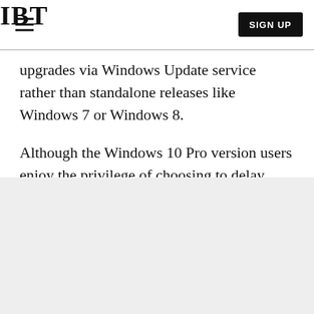IBT
upgrades via Windows Update service rather than standalone releases like Windows 7 or Windows 8.
Although the Windows 10 Pro version users enjoy the privilege of choosing to delay updates, Home version users have no such advantage.